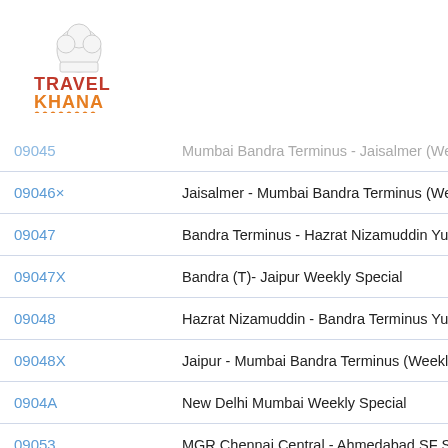[Figure (logo): TravelKhana logo with chef hat icon and orange/red branding]
| Train No | Train Name |
| --- | --- |
| 09045 | Mumbai Bandra Terminus - Jaisalmer (We... |
| 09046× | Jaisalmer - Mumbai Bandra Terminus (We... |
| 09047 | Bandra Terminus - Hazrat Nizamuddin Yuv... |
| 09047X | Bandra (T)- Jaipur Weekly Special |
| 09048 | Hazrat Nizamuddin - Bandra Terminus Yuv... |
| 09048X | Jaipur - Mumbai Bandra Terminus (Weekly... |
| 0904A | New Delhi Mumbai Weekly Special |
| 09053 | MGR Chennai Central - Ahmedabad SF Spe... |
| 09054 | Ahmedabad - MGR Chennai Central SF Spe... |
| 09054X | Jaipur - Dadar Western Humsafar Special |